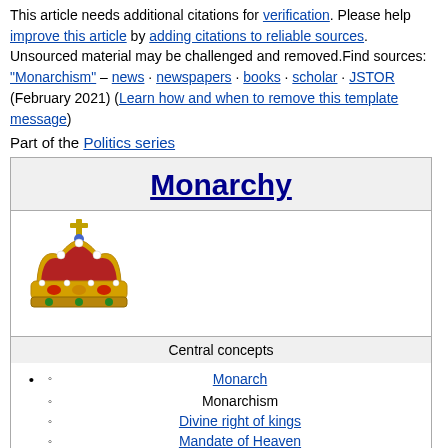This article needs additional citations for verification. Please help improve this article by adding citations to reliable sources. Unsourced material may be challenged and removed.Find sources: "Monarchism" – news · newspapers · books · scholar · JSTOR (February 2021) (Learn how and when to remove this template message)
Part of the Politics series
Monarchy
[Figure (illustration): An ornate royal crown with gold, red, and jewel decorations, topped with a cross.]
Central concepts
Monarch
Monarchism
Divine right of kings
Mandate of Heaven
Royal prerogative
Types